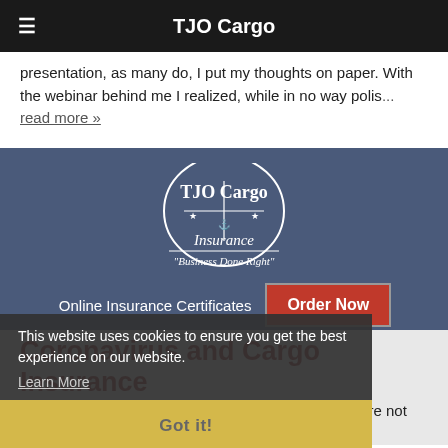TJO Cargo
presentation, as many do, I put my thoughts on paper. With the webinar behind me I realized, while in no way polis... read more »
[Figure (logo): TJO Cargo Insurance logo with circular emblem and tagline Business Done Right]
Online Insurance Certificates
Order Now
Coronavirus and Cargo Insurance
Posted February 7, 2020 by Thomas J Omalley
This website uses cookies to ensure you get the best experience on our website.
Learn More
Got it!
The word is out. China-related supply chain delays are not only possible; they are already happening